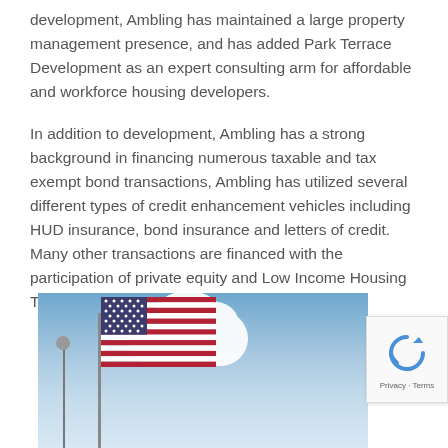development, Ambling has maintained a large property management presence, and has added Park Terrace Development as an expert consulting arm for affordable and workforce housing developers.
In addition to development, Ambling has a strong background in financing numerous taxable and tax exempt bond transactions, Ambling has utilized several different types of credit enhancement vehicles including HUD insurance, bond insurance and letters of credit. Many other transactions are financed with the participation of private equity and Low Income Housing Tax Credit (LIHTC) equity.
[Figure (photo): Photo of an American flag on a flagpole against a blue sky with white clouds. A second tall pole or structure is visible to the left. The image is partially cut off at the bottom of the page.]